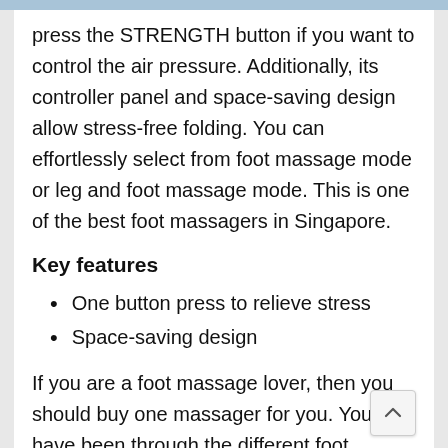press the STRENGTH button if you want to control the air pressure. Additionally, its controller panel and space-saving design allow stress-free folding. You can effortlessly select from foot massage mode or leg and foot massage mode. This is one of the best foot massagers in Singapore.
Key features
One button press to relieve stress
Space-saving design
If you are a foot massage lover, then you should buy one massager for you. You have been through the different foot massagers